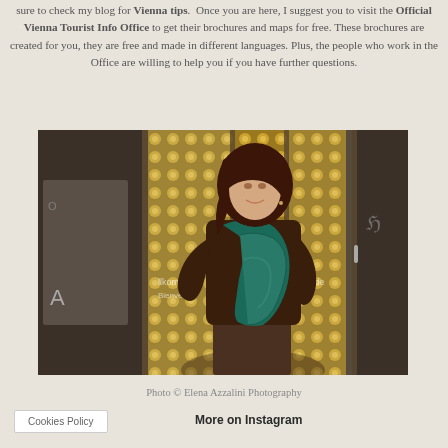sure to check my blog for Vienna tips. Once you are here, I suggest you to visit the Official Vienna Tourist Info Office to get their brochures and maps for free. These brochures are created for you, they are free and made in different languages. Plus, the people who work in the Office are willing to help you if you have further questions.
[Figure (photo): Woman with teal scarf and brown jacket standing in front of the Official Vienna Tourist Info Office entrance with golden dot wall decoration visible through glass doors.]
Photo © Elena Azzalini Photography
Cookies Policy
More on Instagram